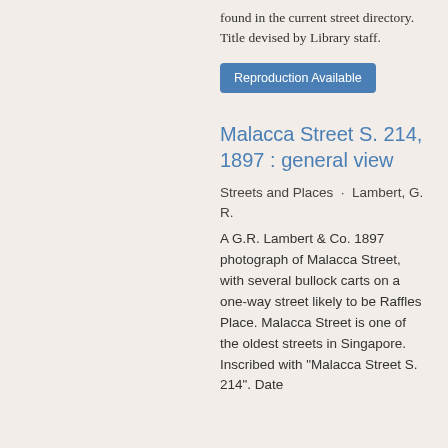found in the current street directory. Title devised by Library staff.
Reproduction Available
Malacca Street S. 214, 1897 : general view
Streets and Places · Lambert, G. R.
A G.R. Lambert & Co. 1897 photograph of Malacca Street, with several bullock carts on a one-way street likely to be Raffles Place. Malacca Street is one of the oldest streets in Singapore. Inscribed with "Malacca Street S. 214". Date